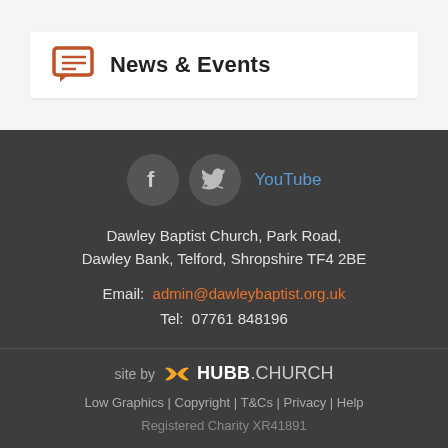News & Events
[Figure (other): Footer with social icons (Facebook, Twitter, YouTube), address, email, tel, site by HUBB.CHURCH, links]
Dawley Baptist Church, Park Road, Dawley Bank, Telford, Shropshire TF4 2BE
Email: admin@dawleybaptist.org.uk
Tel: 07761 848196
site by HUBB.CHURCH
Low Graphics | Copyright | T&Cs | Privacy | Help
Registered Charity XR41891